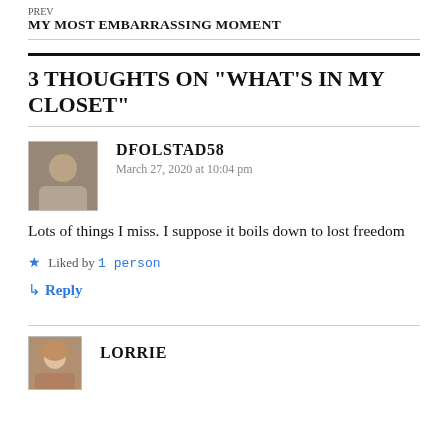MY MOST EMBARRASSING MOMENT
3 THOUGHTS ON “WHAT’S IN MY CLOSET”
DFOLSTAD58
March 27, 2020 at 10:04 pm
Lots of things I miss. I suppose it boils down to lost freedom
Liked by 1 person
Reply
LORRIE